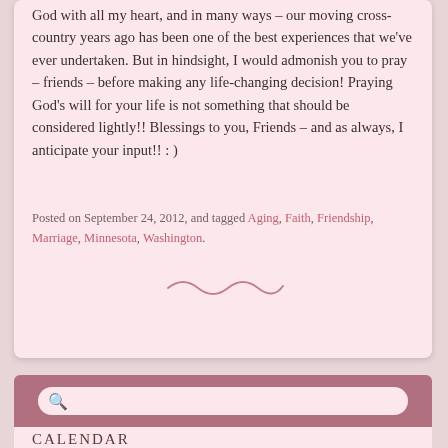God with all my heart, and in many ways – our moving cross-country years ago has been one of the best experiences that we've ever undertaken.  But in hindsight, I would admonish you to pray – friends – before making any life-changing decision!  Praying God's will for your life is not something that should be considered lightly!! Blessings to you, Friends – and as always, I anticipate your input!!   : )
Posted on September 24, 2012, and tagged Aging, Faith, Friendship, Marriage, Minnesota, Washington.
[Figure (illustration): Decorative swirl/tilde divider line in pink/mauve color]
CALENDAR